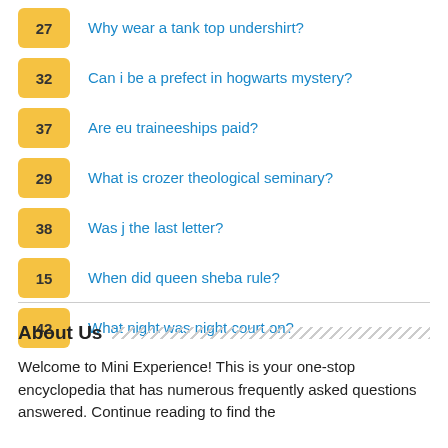27 Why wear a tank top undershirt?
32 Can i be a prefect in hogwarts mystery?
37 Are eu traineeships paid?
29 What is crozer theological seminary?
38 Was j the last letter?
15 When did queen sheba rule?
42 What night was night court on?
About Us
Welcome to Mini Experience! This is your one-stop encyclopedia that has numerous frequently asked questions answered. Continue reading to find the answers.